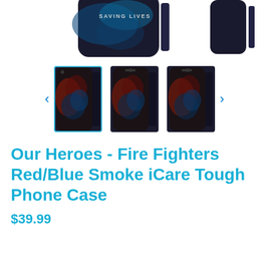[Figure (photo): Top portion of phone cases with blue smoke design visible at top of page (partially cropped)]
[Figure (photo): Thumbnail carousel of phone cases showing fire fighters red/blue smoke design on iPhone and Samsung models. Three thumbnails visible: first selected with blue border, two others without border. Left and right navigation arrows on sides.]
Our Heroes - Fire Fighters Red/Blue Smoke iCare Tough Phone Case
$39.99